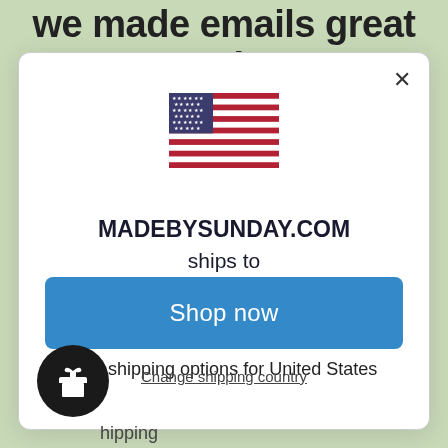we made emails great again!
[Figure (screenshot): Modal dialog showing US flag and shipping options for MADEBYSUNDAY.COM]
MADEBYSUNDAY.COM ships to United States
Shop in USD $
Get shipping options for United States
Shop now
Change shipping country
hipping